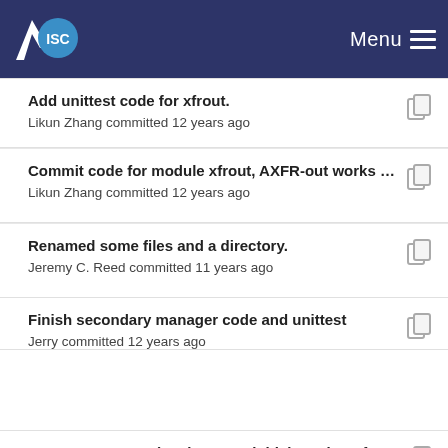ISC — Menu
Add unittest code for xfrout.
Likun Zhang committed 12 years ago
Commit code for module xfrout, AXFR-out works …
Likun Zhang committed 12 years ago
Renamed some files and a directory.
Jeremy C. Reed committed 11 years ago
Finish secondary manager code and unittest
Jerry committed 12 years ago
- merge trac #191 (Implement a initial version of st...
Naoki Kambe committed 11 years ago
Rename bind10 in to run_bind10.sh in ... this is the